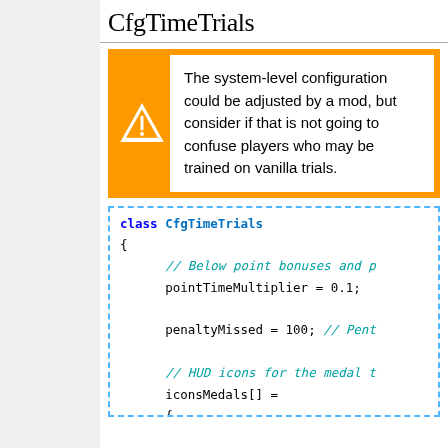CfgTimeTrials
The system-level configuration could be adjusted by a mod, but consider if that is not going to confuse players who may be trained on vanilla trials.
[Figure (screenshot): Code block showing class CfgTimeTrials with fields pointTimeMultiplier = 0.1, penaltyMissed = 100, iconsMedals[] with A3\modules_f_beta\data\ entries, and a comment about HUD colors for the medal.]